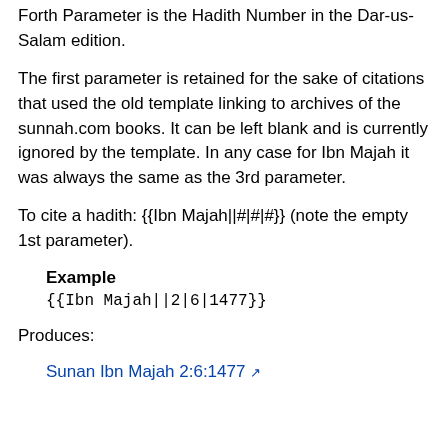Forth Parameter is the Hadith Number in the Dar-us-Salam edition.
The first parameter is retained for the sake of citations that used the old template linking to archives of the sunnah.com books. It can be left blank and is currently ignored by the template. In any case for Ibn Majah it was always the same as the 3rd parameter.
To cite a hadith: {{Ibn Majah||#|#|#}} (note the empty 1st parameter).
Example
{{Ibn Majah||2|6|1477}}
Produces:
Sunan Ibn Majah 2:6:1477 ↗